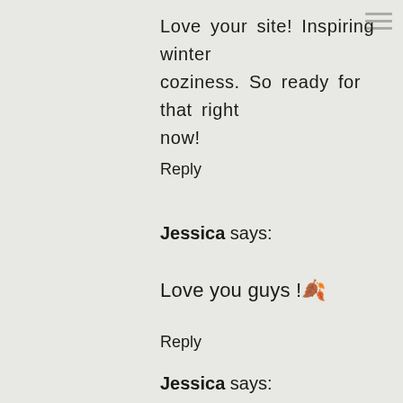Love your site! Inspiring winter coziness. So ready for that right now!
Reply
Jessica says:
Love you guys !🍂
Reply
Jessica says: